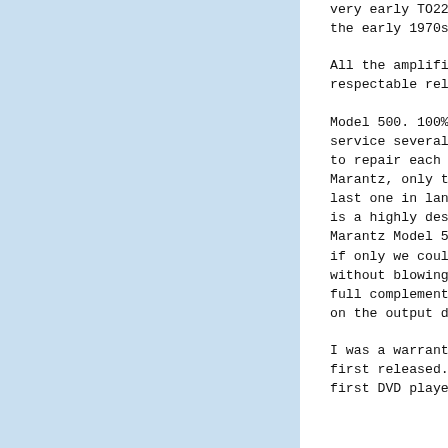very early TO220 pack output devices the early 1970s.

All the amplifiers fitted with TO3 o respectable reliability, except....

Model 500. 100% failure rate. In fac service several times during it's wa to repair each one. As a consequence Marantz, only to were sold to the pu last one in landfill. I negotiated a is a highly desirable amplifier. The Marantz Model 500 would be issued wi if only we could manage to get one t without blowing up. Designed in 1963 full complementary symmetry outputs. on the output devices was marginal.

I was a warranty agent for another m first released. I was instructed by first DVD player would certainly fai